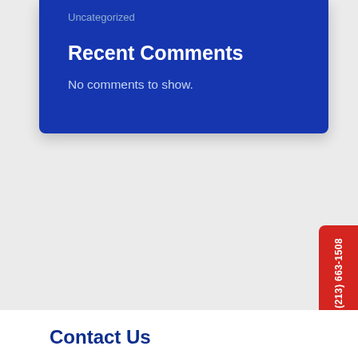Uncategorized
Recent Comments
No comments to show.
Contact Us
Together, we can make your home, office, and community safer. Call us today.
Name*
(213) 663-1508